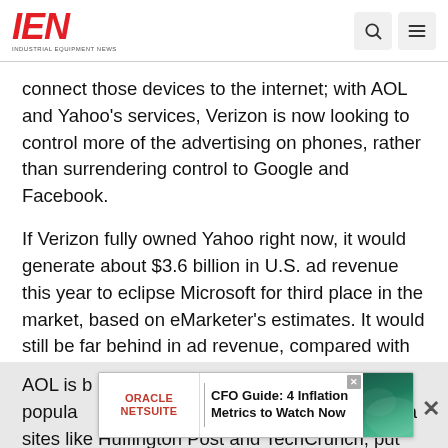IEN - INDUSTRIAL EQUIPMENT NEWS
connect those devices to the internet; with AOL and Yahoo's services, Verizon is now looking to control more of the advertising on phones, rather than surrendering control to Google and Facebook.
If Verizon fully owned Yahoo right now, it would generate about $3.6 billion in U.S. ad revenue this year to eclipse Microsoft for third place in the market, based on eMarketer's estimates. It would still be far behind in ad revenue, compared with Google's projected $27 billion, and Facebook's projected $10 billion.
AOL is best known for the dial-up internet it popularized in the 1990s, but it also owns media sites like Huffington Post and TechCrunch, put
[Figure (screenshot): Oracle NetSuite advertisement banner: CFO Guide: 4 Inflation Metrics to Watch Now]